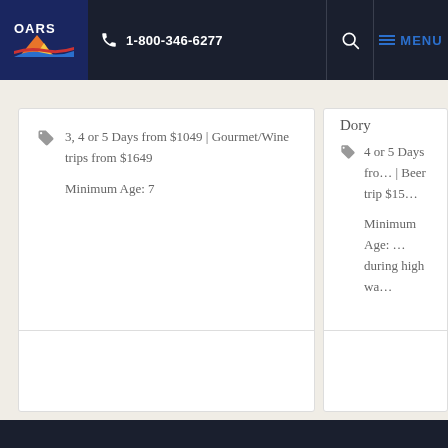1-800-346-6277 | OARS | MENU
Dory
3, 4 or 5 Days from $1049 | Gourmet/Wine trips from $1649
Minimum Age: 7
4 or 5 Days fro... | Beer trip $15...
Minimum Age: ... during high wa...